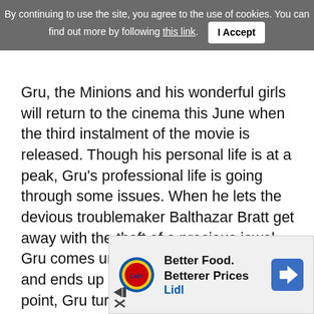By continuing to use the site, you agree to the use of cookies. You can find out more by following this link. I Accept
Gru, the Minions and his wonderful girls will return to the cinema this June when the third instalment of the movie is released. Though his personal life is at a peak, Gru's professional life is going through some issues. When he lets the devious troublemaker Balthazar Bratt get away with the theft of a precious jewel, Gru comes under fire from his bosses and ends up getting fired. Now at a low point, Gru turn to his wife, Lucy, and the girls for support but they're unable to solve Gru's problems.
When the former bady finds out that he has a twin brother, the pair are reunited and it appears his brother Dru has everything Gru hasn't. He has wealth… and home… mansio… life of
[Figure (other): Advertisement banner for Lidl: 'Better Food. Betterer Prices' with Lidl logo and navigation arrow icon]